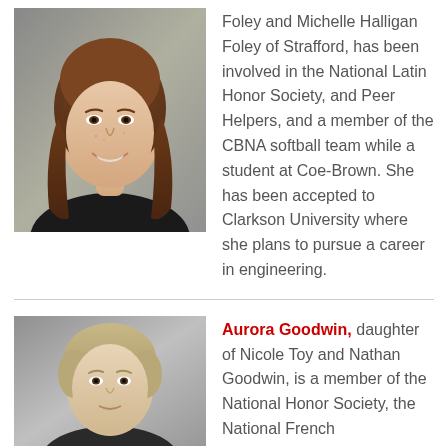[Figure (photo): Portrait photo of a young woman with long brown hair, smiling, against a gray background.]
Foley and Michelle Halligan Foley of Strafford, has been involved in the National Latin Honor Society, and Peer Helpers, and a member of the CBNA softball team while a student at Coe-Brown. She has been accepted to Clarkson University where she plans to pursue a career in engineering.
[Figure (photo): Portrait photo of a young person with short light-colored hair, against a gray background.]
Aurora Goodwin, daughter of Nicole Toy and Nathan Goodwin, is a member of the National Honor Society, the National French